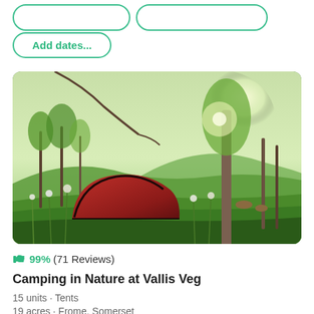Add dates...
[Figure (photo): A red dome tent pitched in a lush green woodland clearing with wildflowers in the foreground and trees with sunlight filtering through in the background. Somerset countryside setting.]
99% (71 Reviews)
Camping in Nature at Vallis Veg
15 units · Tents
19 acres · Frome, Somerset